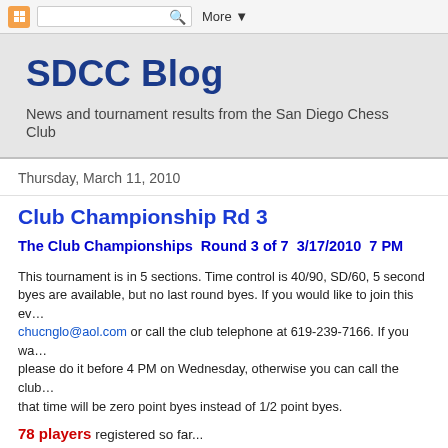More ▼
SDCC Blog
News and tournament results from the San Diego Chess Club
Thursday, March 11, 2010
Club Championship Rd 3
The Club Championships  Round 3 of 7  3/17/2010  7 PM
This tournament is in 5 sections. Time control is 40/90, SD/60, 5 second byes are available, but no last round byes. If you would like to join this event, email chucnglo@aol.com or call the club telephone at 619-239-7166. If you want to withdraw please do it before 4 PM on Wednesday, otherwise you can call the club. Byes after that time will be zero point byes instead of 1/2 point byes.
78 players registered so far...
Here are the results for round 3: